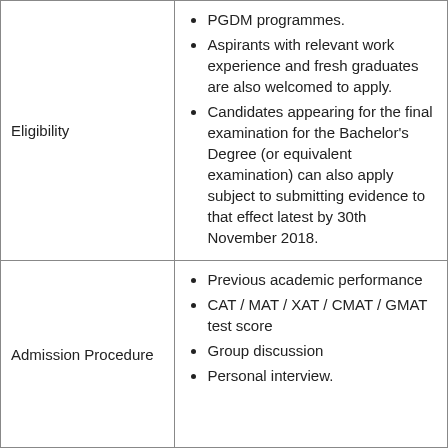| Eligibility | PGDM programmes.
Aspirants with relevant work experience and fresh graduates are also welcomed to apply.
Candidates appearing for the final examination for the Bachelor's Degree (or equivalent examination) can also apply subject to submitting evidence to that effect latest by 30th November 2018. |
| Admission Procedure | Previous academic performance
CAT / MAT / XAT / CMAT / GMAT test score
Group discussion
Personal interview. |